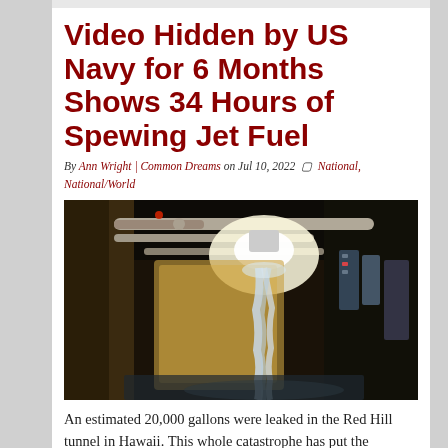Video Hidden by US Navy for 6 Months Shows 34 Hours of Spewing Jet Fuel
By Ann Wright | Common Dreams on Jul 10, 2022  National, National/World
[Figure (photo): Dark industrial tunnel/utility corridor showing pipes and equipment with liquid (jet fuel) spewing or dripping from a pipe fitting, with bright overhead light illuminating the scene.]
An estimated 20,000 gallons were leaked in the Red Hill tunnel in Hawaii. This whole catastrophe has put the community's trust of the Navy in the toilet. A dramatic video hidden for 6 months by the U.S. Navy of the 34 hours